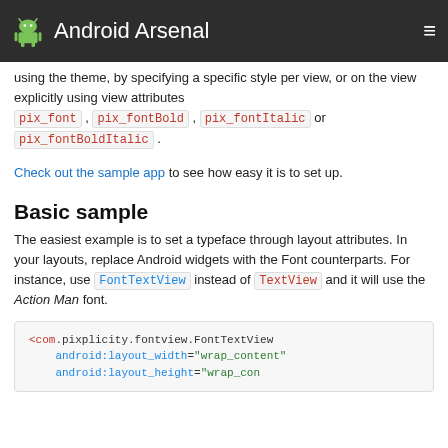Android Arsenal
using the theme, by specifying a specific style per view, or on the view explicitly using view attributes pix_font , pix_fontBold , pix_fontItalic or pix_fontBoldItalic .
Check out the sample app to see how easy it is to set up.
Basic sample
The easiest example is to set a typeface through layout attributes. In your layouts, replace Android widgets with the Font counterparts. For instance, use FontTextView instead of TextView and it will use the Action Man font.
[Figure (screenshot): Code block showing XML layout snippet: <com.pixplicity.fontview.FontTextView android:layout_width="wrap_content" android:layout_height="wrap_content"]